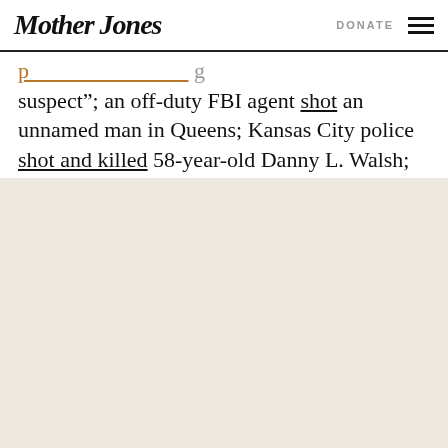Mother Jones | DONATE
suspect”; an off-duty FBI agent shot an unnamed man in Queens; Kansas City police shot and killed 58-year-old Danny L. Walsh; Lynn police and a Massachusetts state trooper shot and killed Brandon Payne, 23, a father of three; Henderson police shot and killed Andy Puente Soto, 42, out in the desert wastes near Las Vegas.